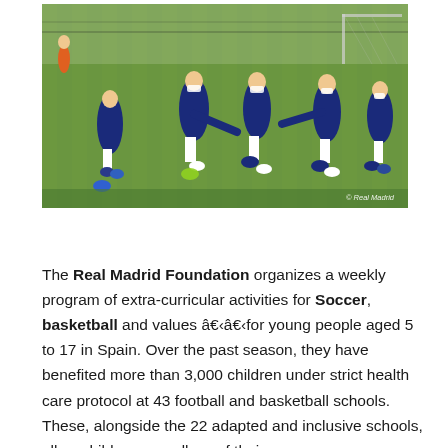[Figure (photo): Children in dark blue tracksuits and white shorts playing soccer/football on a green artificial turf field. Several kids are wearing masks. A fence and goal are visible in the background. Copyright watermark reads '© Real Madrid'.]
The Real Madrid Foundation organizes a weekly program of extra-curricular activities for Soccer, basketball and values â€‹â€‹for young people aged 5 to 17 in Spain. Over the past season, they have benefited more than 3,000 children under strict health care protocol at 43 football and basketball schools. These, alongside the 22 adapted and inclusive schools, allow children regardless of their